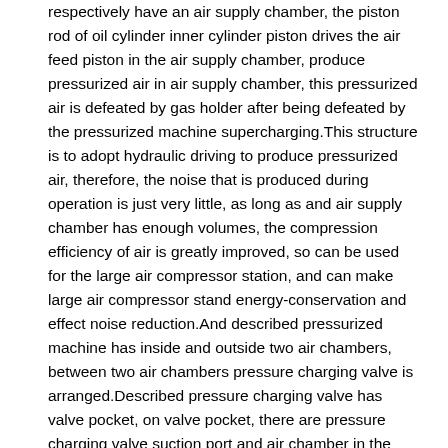respectively have an air supply chamber, the piston rod of oil cylinder inner cylinder piston drives the air feed piston in the air supply chamber, produce pressurized air in air supply chamber, this pressurized air is defeated by gas holder after being defeated by the pressurized machine supercharging.This structure is to adopt hydraulic driving to produce pressurized air, therefore, the noise that is produced during operation is just very little, as long as and air supply chamber has enough volumes, the compression efficiency of air is greatly improved, so can be used for the large air compressor station, and can make large air compressor stand energy-conservation and effect noise reduction.And described pressurized machine has inside and outside two air chambers, between two air chambers pressure charging valve is arranged.Described pressure charging valve has valve pocket, on valve pocket, there are pressure charging valve suction port and air chamber in the pressurized machine to communicate, have the pressure charging valve relief opening to communicate with air chamber outside the pressurized machine, there is valve ball pressure charging valve suction port in valve pocket and pressure charging valve relief opening confluce, this valve ball is by spring pushing shutoff pressure charging